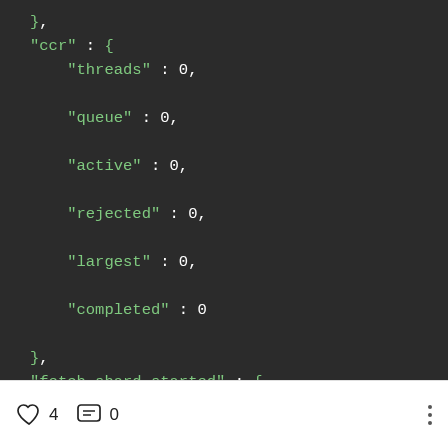},
"ccr" : {
    "threads" : 0,
    "queue" : 0,
    "active" : 0,
    "rejected" : 0,
    "largest" : 0,
    "completed" : 0
},
"fetch_shard_started" : {
    "threads" : 1,
    "queue" : 0,
    "active" : 0,
    "rejected" : 0,
    "largest" : 4
4   0